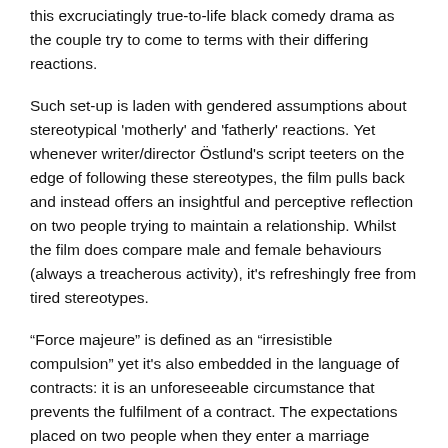this excruciatingly true-to-life black comedy drama as the couple try to come to terms with their differing reactions.
Such set-up is laden with gendered assumptions about stereotypical 'motherly' and 'fatherly' reactions. Yet whenever writer/director Östlund's script teeters on the edge of following these stereotypes, the film pulls back and instead offers an insightful and perceptive reflection on two people trying to maintain a relationship. Whilst the film does compare male and female behaviours (always a treacherous activity), it's refreshingly free from tired stereotypes.
“Force majeure” is defined as an “irresistible compulsion” yet it's also embedded in the language of contracts: it is an unforeseeable circumstance that prevents the fulfilment of a contract. The expectations placed on two people when they enter a marriage contract and start a family are implied in the title, as too are the expectations placed on 'mother' and 'father' according to society's gendered assumptions.